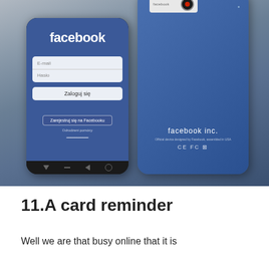[Figure (photo): Two Facebook-branded smartphones side by side on a grey surface. The left phone shows the Facebook login screen with the Facebook logo, email and password fields, 'Zaloguj się' (login) button, 'Zarejestruj się na Facebooku' (register) button, and forgot password link. The right phone shows the back of the device in blue with a camera module at the top showing 'facebook' branding, and 'facebook inc.' text with certification marks (CE FC) near the bottom.]
11.A card reminder
Well we are that busy online that it is